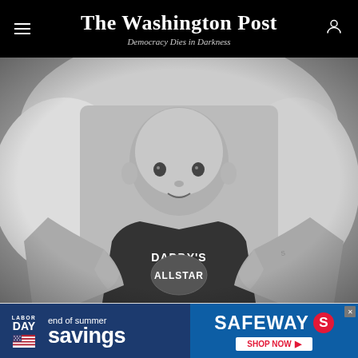The Washington Post — Democracy Dies in Darkness
[Figure (photo): Black and white photo of an adult holding a baby wearing a dark shirt that reads 'DADDY'S ALLSTAR']
[Figure (infographic): Advertisement banner: Labor Day end of summer savings — SAFEWAY SHOP NOW]